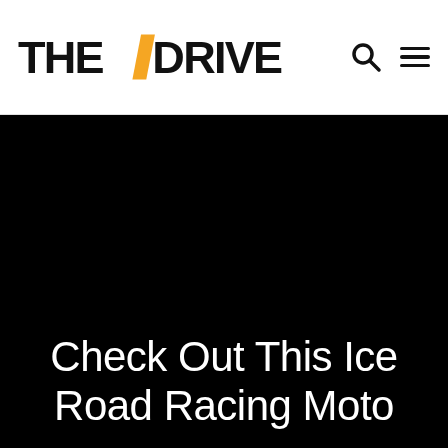THE DRIVE
[Figure (photo): Large black hero image area above article title]
Check Out This Ice Road Racing Moto